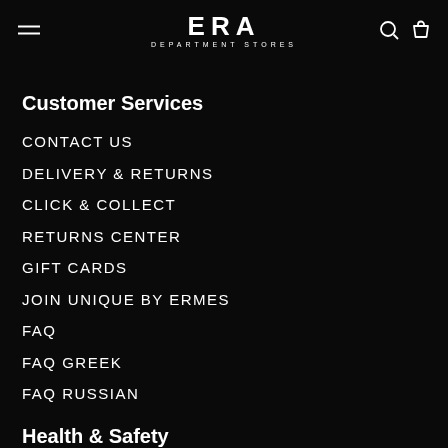ERA DEPARTMENT STORES
Customer Services
CONTACT US
DELIVERY & RETURNS
CLICK & COLLECT
RETURNS CENTER
GIFT CARDS
JOIN UNIQUE BY ERMES
FAQ
FAQ GREEK
FAQ RUSSIAN
Health & Safety